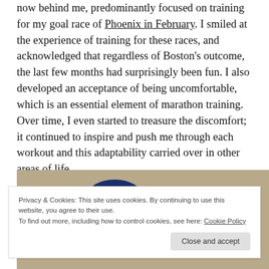now behind me, predominantly focused on training for my goal race of Phoenix in February. I smiled at the experience of training for these races, and acknowledged that regardless of Boston's outcome, the last few months had surprisingly been fun. I also developed an acceptance of being uncomfortable, which is an essential element of marathon training. Over time, I even started to treasure the discomfort; it continued to inspire and push me through each workout and this adaptability carried over in other areas of life.
[Figure (photo): Photograph showing a dark blue hat/cap partially visible at the top, on a tan/sandy background.]
Privacy & Cookies: This site uses cookies. By continuing to use this website, you agree to their use.
To find out more, including how to control cookies, see here: Cookie Policy